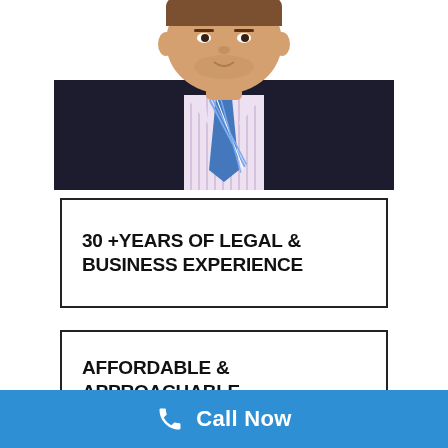[Figure (photo): Professional headshot of a man in a dark suit, light purple striped shirt, and blue striped tie, cropped at the torso, white background.]
30 +YEARS OF LEGAL & BUSINESS EXPERIENCE
AFFORDABLE & APPROACHABLE
Call Now